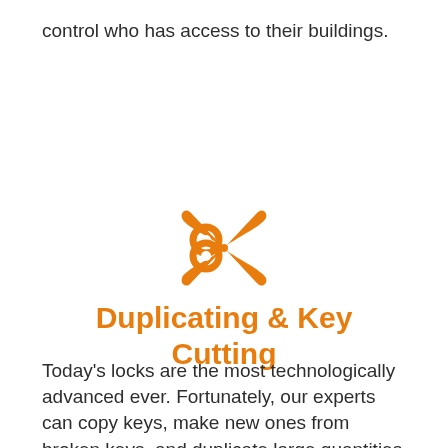control who has access to their buildings.
[Figure (illustration): Orange scissors icon]
Duplicating & Key Cutting
Today's locks are the most technologically advanced ever. Fortunately, our experts can copy keys, make new ones from broken keys, and duplicate large quantities of